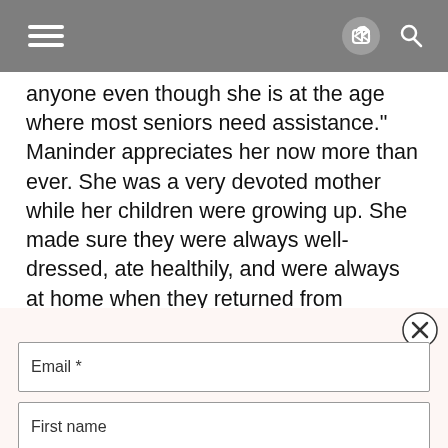Navigation header with hamburger menu, share icon, and search icon
anyone even though she is at the age where most seniors need assistance." Maninder appreciates her now more than ever. She was a very devoted mother while her children were growing up. She made sure they were always well-dressed, ate healthily, and were always at home when they returned from school.”
[Figure (screenshot): Email subscription form with fields for Email (required), First name, and Last name, with a close button]
Email *
First name
Last name